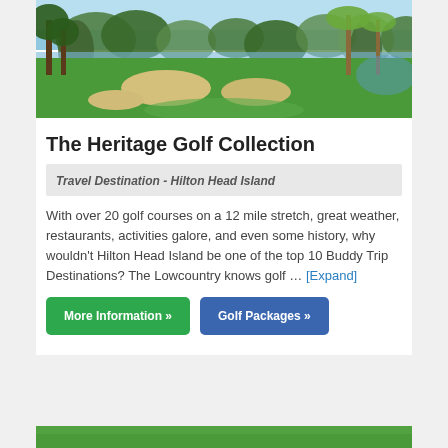[Figure (photo): Aerial/ground view of a golf course with sand bunkers, lush green fairways, trees draped with Spanish moss, and water in the background on Hilton Head Island.]
The Heritage Golf Collection
Travel Destination - Hilton Head Island
With over 20 golf courses on a 12 mile stretch, great weather, restaurants, activities galore, and even some history, why wouldn't Hilton Head Island be one of the top 10 Buddy Trip Destinations? The Lowcountry knows golf … [Expand]
More Information »
Golf Packages »
[Figure (photo): Partial view of another golf course scene at the bottom of the page.]